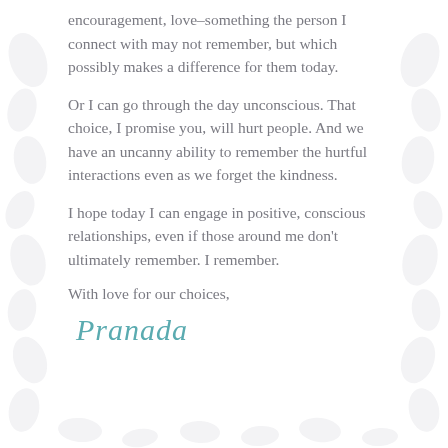encouragement, love–something the person I connect with may not remember, but which possibly makes a difference for them today.
Or I can go through the day unconscious. That choice, I promise you, will hurt people. And we have an uncanny ability to remember the hurtful interactions even as we forget the kindness.
I hope today I can engage in positive, conscious relationships, even if those around me don't ultimately remember. I remember.
With love for our choices,
[Figure (illustration): Handwritten cursive signature reading 'Pranada' in teal/blue color]